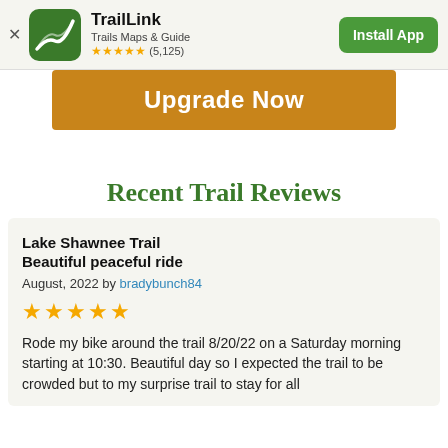[Figure (screenshot): TrailLink app banner with green icon showing trail path, app name, subtitle 'Trails Maps & Guide', star rating (5,125), and Install App button]
[Figure (infographic): Orange/gold 'Upgrade Now' button banner]
Recent Trail Reviews
Lake Shawnee Trail
Beautiful peaceful ride
August, 2022 by bradybunch84
★★★★★
Rode my bike around the trail 8/20/22 on a Saturday morning starting at 10:30. Beautiful day so I expected the trail to be crowded but to my surprise trail to stay for all